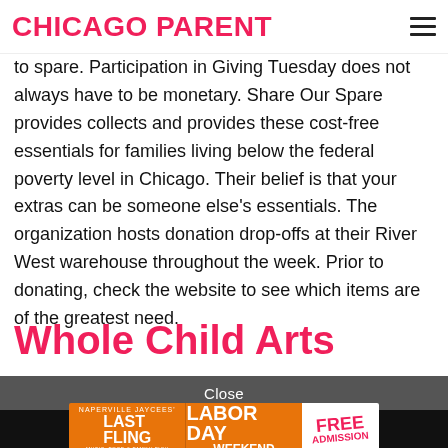CHICAGO PARENT
to spare. Participation in Giving Tuesday does not always have to be monetary. Share Our Spare provides collects and provides these cost-free essentials for families living below the federal poverty level in Chicago. Their belief is that your extras can be someone else's essentials. The organization hosts donation drop-offs at their River West warehouse throughout the week. Prior to donating, check the website to see which items are of the greatest need.
Whole Child Arts
Close
[Figure (advertisement): Naperville Jaycees Last Fling - Labor Day Weekend - Free Admission banner advertisement in orange and white]